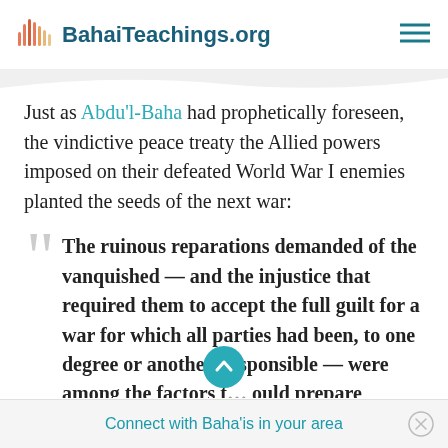BahaiTeachings.org
Just as Abdu'l-Baha had prophetically foreseen, the vindictive peace treaty the Allied powers imposed on their defeated World War I enemies planted the seeds of the next war:
The ruinous reparations demanded of the vanquished — and the injustice that required them to accept the full guilt for a war for which all parties had been, to one degree or another, responsible — were among the factors t… ould prepare
Connect with Baha'is in your area